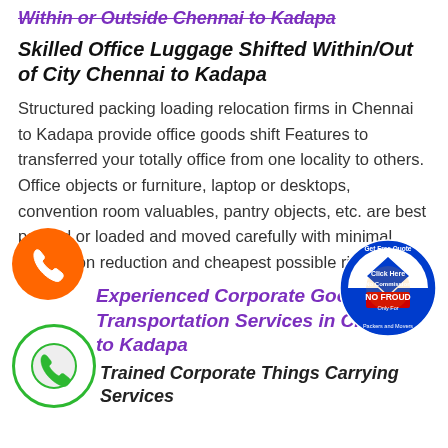Within or Outside Chennai to Kadapa
Skilled Office Luggage Shifted Within/Out of City Chennai to Kadapa
Structured packing loading relocation firms in Chennai to Kadapa provide office goods shift Features to transferred your totally office from one locality to others. Office objects or furniture, laptop or desktops, convention room valuables, pantry objects, etc. are best packed or loaded and moved carefully with minimal production reduction and cheapest possible risks.
Experienced Corporate Goods Transportation Services in Chennai to Kadapa
Trained Corporate Things Carrying Services